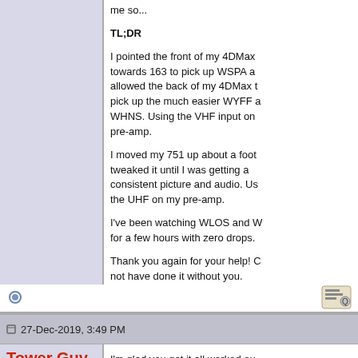me so...
TL;DR
I pointed the front of my 4DMax towards 163 to pick up WSPA and allowed the back of my 4DMax to pick up the much easier WYFF and WHNS. Using the VHF input on my pre-amp.
I moved my 751 up about a foot and tweaked it until I was getting a consistent picture and audio. Using the UHF on my pre-amp.
I've been watching WLOS and W... for a few hours with zero drops.
Thank you again for your help! Could not have done it without you.
Cheers!
27-Dec-2019, 3:49 PM
Tower Guy
Senior Member
I'm glad you got it all worked ou...